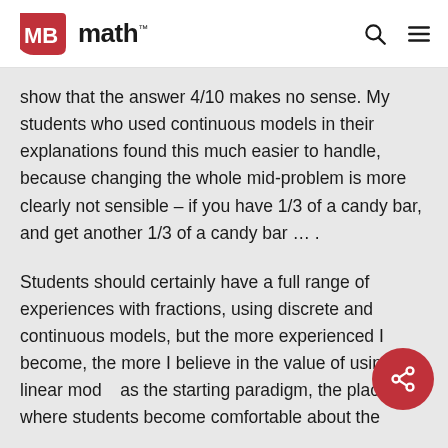MB math™
show that the answer 4/10 makes no sense. My students who used continuous models in their explanations found this much easier to handle, because changing the whole mid-problem is more clearly not sensible – if you have 1/3 of a candy bar, and get another 1/3 of a candy bar … .
Students should certainly have a full range of experiences with fractions, using discrete and continuous models, but the more experienced I become, the more I believe in the value of using a linear model as the starting paradigm, the place where students become comfortable about the